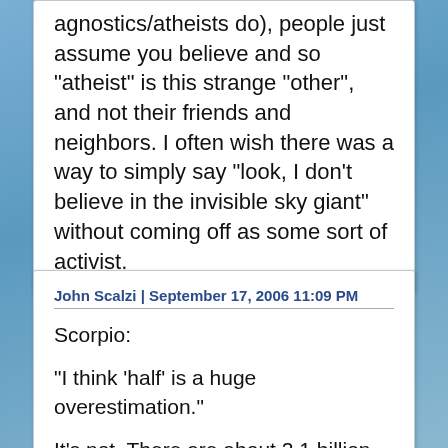agnostics/atheists do), people just assume you believe and so "atheist" is this strange "other", and not their friends and neighbors. I often wish there was a way to simply say "look, I don't believe in the invisible sky giant" without coming off as some sort of activist.
John Scalzi | September 17, 2006 11:09 PM
Scorpio:

"I think 'half' is a huge overestimation."

It's not. There are about 2.1 billion Christians and about 1.3